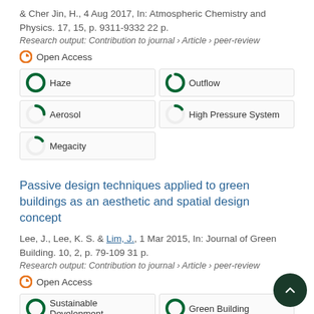& Cher Jin, H., 4 Aug 2017, In: Atmospheric Chemistry and Physics. 17, 15, p. 9311-9332 22 p.
Research output: Contribution to journal › Article › peer-review
Open Access
[Figure (infographic): Fingerprint keyword badges: Haze 100%, Outflow ~90%, Aerosol ~25%, High Pressure System ~15%, Megacity ~15%]
Passive design techniques applied to green buildings as an aesthetic and spatial design concept
Lee, J., Lee, K. S. & Lim, J., 1 Mar 2015, In: Journal of Green Building. 10, 2, p. 79-109 31 p.
Research output: Contribution to journal › Article › peer-review
Open Access
[Figure (infographic): Fingerprint keyword badges: Sustainable Development 100%, Green Building 100%, Conservation Of Energy Resour ~100%, Aesthetics ~90%]